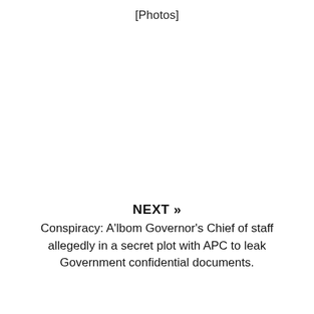[Photos]
NEXT »
Conspiracy: A'lbom Governor's Chief of staff allegedly in a secret plot with APC to leak Government confidential documents.